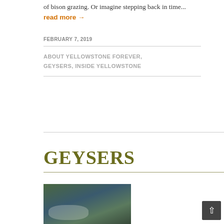of bison grazing. Or imagine stepping back in time... read more →
FEBRUARY 7, 2019
ABOUT YELLOWSTONE FOREVER, GEYSERS, INSIDE YELLOWSTONE
GEYSERS
[Figure (photo): Aerial photograph of a geyser basin area in Yellowstone, showing steam rising from thermal features surrounded by forest and a river or stream running through the landscape.]